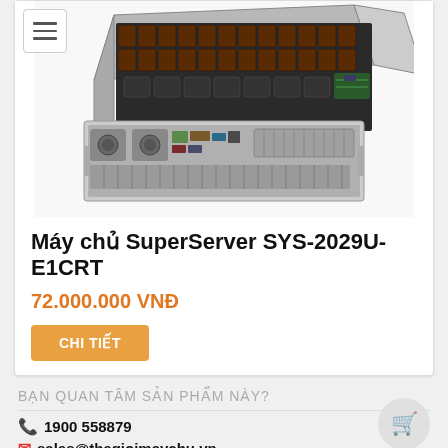[Figure (photo): Supermicro SuperServer SYS-2029U-E1CRT rack server unit showing front view with drive bays and rear view with ports and power supplies]
Máy chủ SuperServer SYS-2029U-E1CRT
72.000.000 VNĐ
CHI TIẾT
BẠN QUAN TÂM SẢN PHẨM NÀY?
1900 558879
sales@thegioimaychu.vn